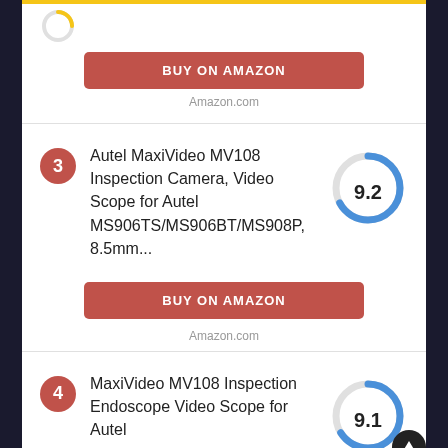[Figure (other): BUY ON AMAZON button (red/salmon) for item 2]
Amazon.com
3 Autel MaxiVideo MV108 Inspection Camera, Video Scope for Autel MS906TS/MS906BT/MS908P, 8.5mm... Score: 9.2
[Figure (donut-chart): Score 9.2]
[Figure (other): BUY ON AMAZON button (red/salmon) for item 3]
Amazon.com
4 MaxiVideo MV108 Inspection Endoscope Video Scope for Autel Score: 9.1
[Figure (donut-chart): Score 9.1]